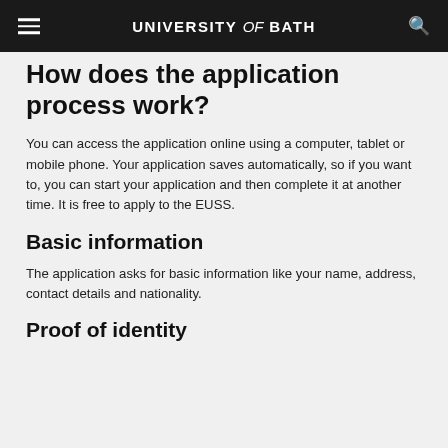UNIVERSITY of BATH
How does the application process work?
You can access the application online using a computer, tablet or mobile phone. Your application saves automatically, so if you want to, you can start your application and then complete it at another time. It is free to apply to the EUSS.
Basic information
The application asks for basic information like your name, address, contact details and nationality.
Proof of identity